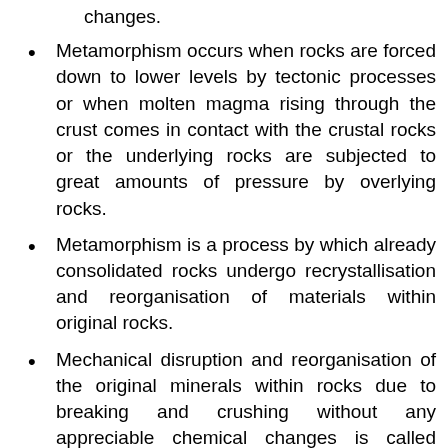changes.
Metamorphism occurs when rocks are forced down to lower levels by tectonic processes or when molten magma rising through the crust comes in contact with the crustal rocks or the underlying rocks are subjected to great amounts of pressure by overlying rocks.
Metamorphism is a process by which already consolidated rocks undergo recrystallisation and reorganisation of materials within original rocks.
Mechanical disruption and reorganisation of the original minerals within rocks due to breaking and crushing without any appreciable chemical changes is called dynamic metamorphism.